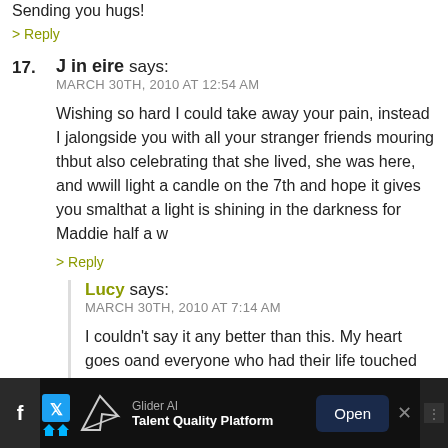Sending you hugs!
> Reply
17. J in eire says: MARCH 30TH, 2010 AT 12:54 AM
Wishing so hard I could take away your pain, instead I j... alongside you with all your stranger friends mouring th... but also celebrating that she lived, she was here, and w... will light a candle on the 7th and hope it gives you smal... that a light is shining in the darkness for Maddie half a w...
> Reply
Lucy says: MARCH 30TH, 2010 AT 7:14 AM
I couldn't say it any better than this. My heart goes o... and everyone who had their life touched by your gor... Maddie. She brought so much joy in her short time he...